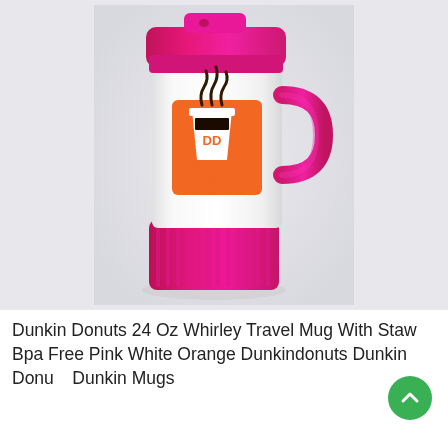[Figure (photo): A Dunkin' Donuts 24 oz Whirley travel mug with a bright pink/magenta lid, handle, and ribbed bottom sleeve, and a white body printed with the Dunkin' Donuts logo (orange square with coffee cup graphic and orange text), set against a light grey background.]
Dunkin Donuts 24 Oz Whirley Travel Mug With Staw Bpa Free Pink White Orange Dunkindonuts Dunkin Donuts Dunkin Mugs